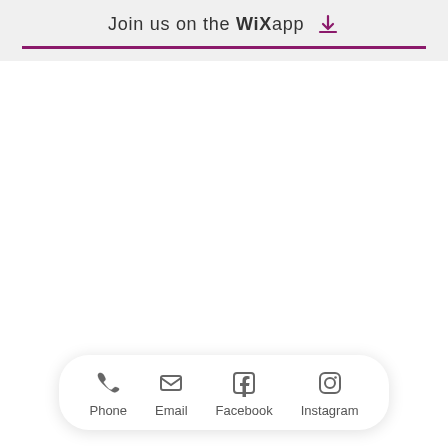Join us on the WiX app ⬇
[Figure (infographic): Bottom navigation bar with Phone, Email, Facebook, and Instagram icons and labels]